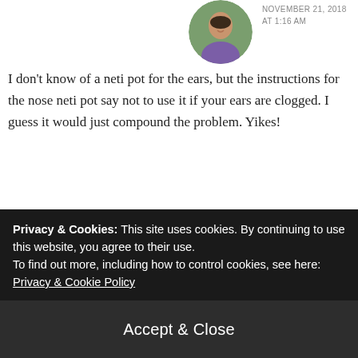[Figure (photo): Circular avatar photo of a woman with dark hair, smiling, outdoors with green foliage background]
NOVEMBER 21, 2018 AT 1:16 AM
I don't know of a neti pot for the ears, but the instructions for the nose neti pot say not to use it if your ears are clogged. I guess it would just compound the problem. Yikes!
★ Liked by 1 person
Log in to Reply
[Figure (photo): Circular avatar photo of a man wearing sunglasses with a dog, outdoors]
Tom Being Tom
NOVEMBER 21, 2018 AT 2:55 PM
Privacy & Cookies: This site uses cookies. By continuing to use this website, you agree to their use.
To find out more, including how to control cookies, see here:
Privacy & Cookie Policy
Accept & Close
which might be a couple of days after Defcon 3. I've been